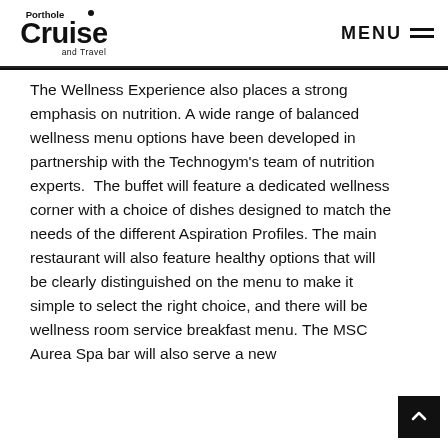Porthole Cruise and Travel — MENU
The Wellness Experience also places a strong emphasis on nutrition. A wide range of balanced wellness menu options have been developed in partnership with the Technogym's team of nutrition experts.  The buffet will feature a dedicated wellness corner with a choice of dishes designed to match the needs of the different Aspiration Profiles. The main restaurant will also feature healthy options that will be clearly distinguished on the menu to make it simple to select the right choice, and there will be wellness room service breakfast menu. The MSC Aurea Spa bar will also serve a new…